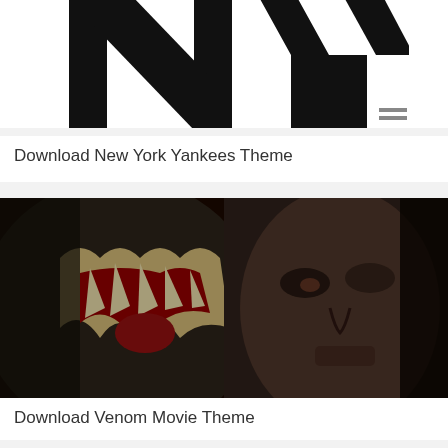[Figure (logo): New York Yankees NY logo in black on white background, partially cropped at top]
Download New York Yankees Theme
[Figure (photo): Venom movie poster showing half monster face with sharp teeth and half human face in dark dramatic lighting]
Download Venom Movie Theme
[Figure (photo): Partial image of third theme, red background, partially cropped at bottom of page]